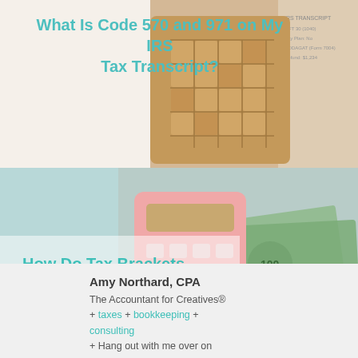What Is Code 570 and 971 on My IRS Tax Transcript?
[Figure (photo): Wooden calculator and IRS tax transcript documents in background]
How Do Tax Brackets Work?
[Figure (photo): Pink calculator with US dollar bills]
Amy Northard, CPA
The Accountant for Creatives® + taxes + bookkeeping + consulting + Hang out with me over on